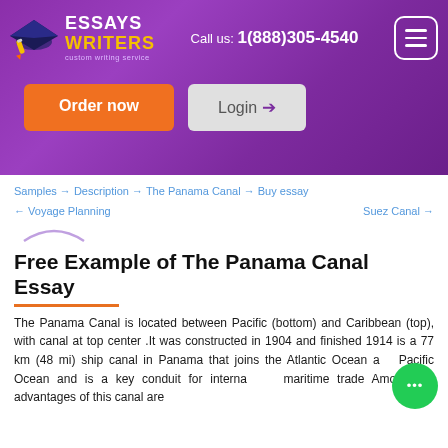Essays Writers — custom writing service | Call us: 1(888)305-4540
Samples → Description → The Panama Canal → Buy essay
← Voyage Planning    Suez Canal →
Free Example of The Panama Canal Essay
The Panama Canal is located between Pacific (bottom) and Caribbean (top), with canal at top center .It was constructed in 1904 and finished 1914 is a 77 km (48 mi) ship canal in Panama that joins the Atlantic Ocean and Pacific Ocean and is a key conduit for international maritime trade Among the advantages of this canal are